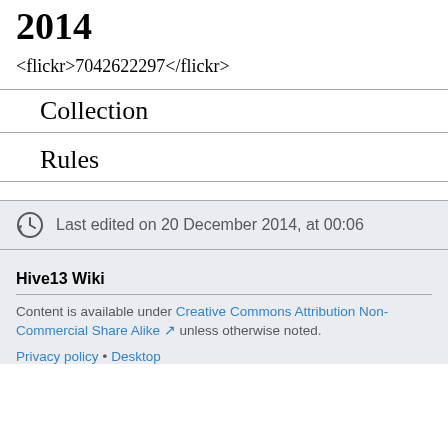2014
<flickr>7042622297</flickr>
Collection
Rules
Last edited on 20 December 2014, at 00:06
Hive13 Wiki
Content is available under Creative Commons Attribution Non-Commercial Share Alike unless otherwise noted.
Privacy policy • Desktop